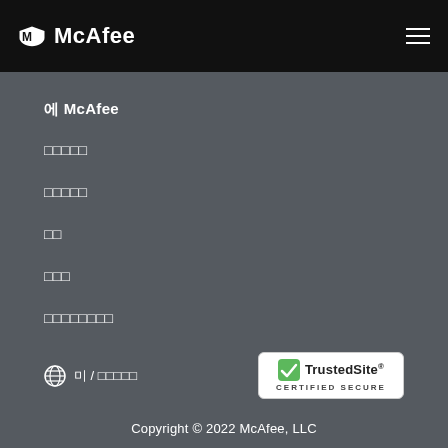McAfee
에 McAfee
□□□□□
□□□□□
□□
□□□
□□□□□□□□
□□□□□
[Figure (logo): TrustedSite Certified Secure badge]
🌐 미 / □□□□□
Copyright © 2022 McAfee, LLC